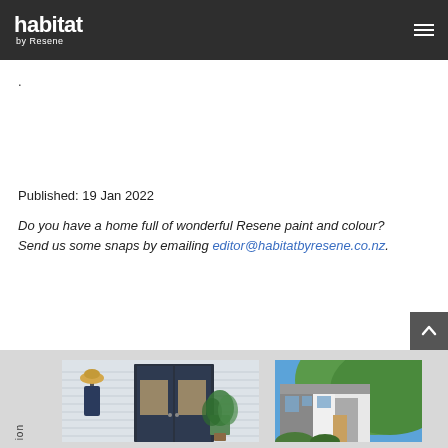habitat by Resene
.
Published: 19 Jan 2022
Do you have a home full of wonderful Resene paint and colour? Send us some snaps by emailing editor@habitatbyresene.co.nz.
[Figure (photo): Bottom section showing two house photos: left photo shows an entryway with dark navy French doors, a coat/hat rack with a straw hat, and a potted plant outside a weatherboard house; right photo shows a white and grey coastal house with green hills in the background.]